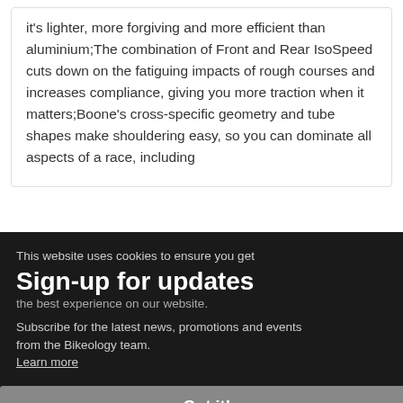it's lighter, more forgiving and more efficient than aluminium;The combination of Front and Rear IsoSpeed cuts down on the fatiguing impacts of rough courses and increases compliance, giving you more traction when it matters;Boone's cross-specific geometry and tube shapes make shouldering easy, so you can dominate all aspects of a race, including
This website uses cookies to ensure you get the best experience on our website.
Sign-up for updates
Subscribe for the latest news, promotions and events from the Bikeology team.
Got it!
Enter your e-mail address